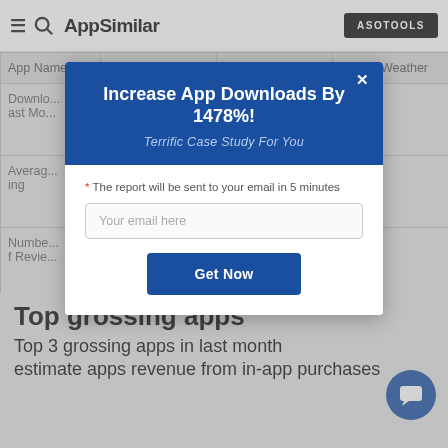AppSimilar | ASOTOOLS
| App Name | Virtual Makeup | ntage Camera | ve Sky Weather |
| --- | --- | --- | --- |
| Downlo... ast Mo... |  |  |  |
| Averag... ing |  |  |  |
| Numbe... f Revie... |  |  |  |
| Reven... |  |  |  |
[Figure (screenshot): Modal popup overlay with dark blue header reading 'Increase App Downloads By 1478%!' and subtitle 'Terrific Case Study For You', email input field, and 'Get Now' button]
Top grossing apps
Top 3 grossing apps in last month
estimate apps revenue from in-app purchases